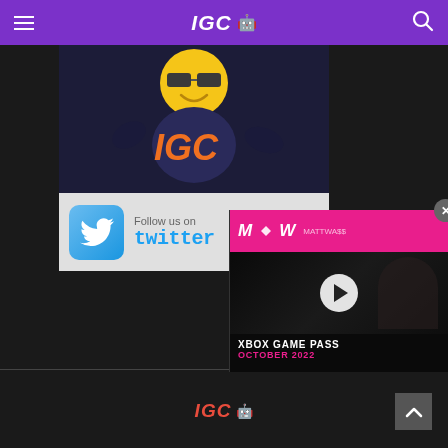IGC [emoji avatar]
[Figure (illustration): IGC mascot character with yellow emoji face, wearing dark outfit with orange IGC text logo, hands outstretched]
[Figure (illustration): Follow us on Twitter banner with Twitter bird logo icon and twitter wordmark in blue]
[Figure (screenshot): MW (MattWatts) video overlay showing Xbox Game Pass October 2022 video thumbnail with play button, pink/magenta branding, close X button]
IGC [emoji avatar]